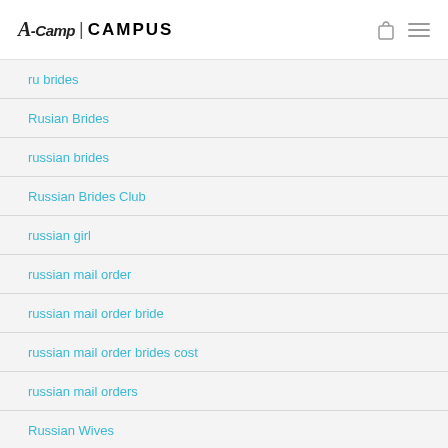A-Camp | CAMPUS
ru brides
Rusian Brides
russian brides
Russian Brides Club
russian girl
russian mail order
russian mail order bride
russian mail order brides cost
russian mail orders
Russian Wives
russian women for marriage
Sex Sites 2020
sexy scandinavian women